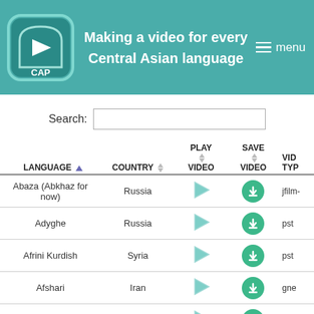Making a video for every Central Asian language
Search:
| LANGUAGE | COUNTRY | PLAY VIDEO | SAVE VIDEO | VID TYP |
| --- | --- | --- | --- | --- |
| Abaza (Abkhaz for now) | Russia | ▶ | ⬇ | jfilm- |
| Adyghe | Russia | ▶ | ⬇ | pst |
| Afrini Kurdish | Syria | ▶ | ⬇ | pst |
| Afshari | Iran | ▶ | ⬇ | gne |
| Aghul | Russia | ▶ | ⬇ | Lul |
| Aimaq | Afghanistan | ▶ | ⬇ | pst |